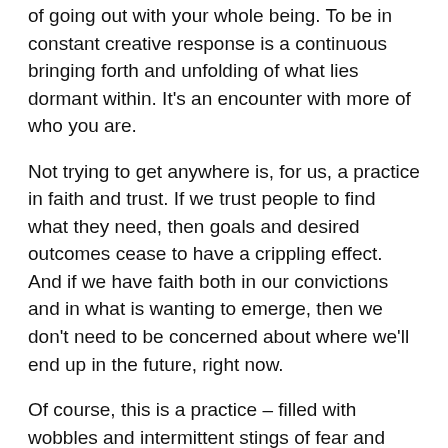of going out with your whole being. To be in constant creative response is a continuous bringing forth and unfolding of what lies dormant within. It's an encounter with more of who you are.
Not trying to get anywhere is, for us, a practice in faith and trust. If we trust people to find what they need, then goals and desired outcomes cease to have a crippling effect. And if we have faith both in our convictions and in what is wanting to emerge, then we don't need to be concerned about where we'll end up in the future, right now.
Of course, this is a practice – filled with wobbles and intermittent stings of fear and doubt. Yet it still feels like a practice worth pursuing, for no other reason than the aliveness and connection that seems to come with it.
Where that takes us? Who knows.
We'll see when we get there.